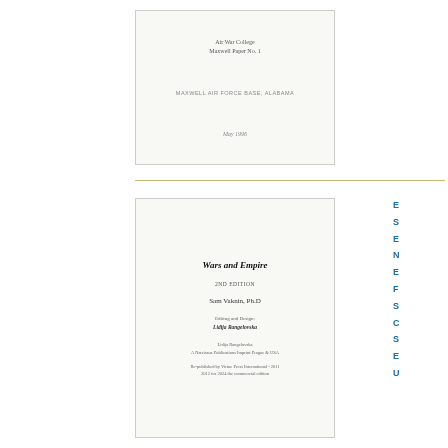[Figure (other): Scanned document cover page for Air War College Maxwell Paper No. 1, Maxwell Air Force Base, Alabama, May 1996]
[Figure (other): Book cover page for 'Wars and Empire' 2nd edition by Sam Vaknin, Ph.D., with editing and design by Lidija Rangelovska, published information included]